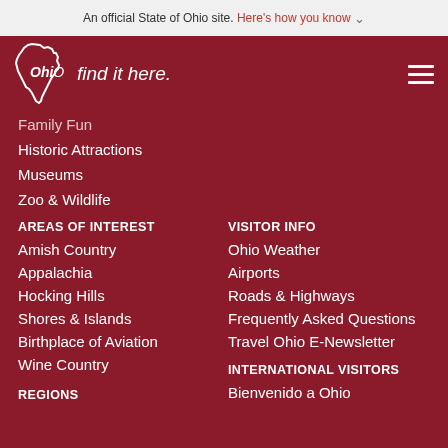An official State of Ohio site. Here's how you know ∨
[Figure (logo): Ohio 'find it here.' logo with Ohio state outline in white on dark red background, with hamburger menu icon on right]
Family Fun
Historic Attractions
Museums
Zoo & Wildlife
AREAS OF INTEREST
Amish Country
Appalachia
Hocking Hills
Shores & Islands
Birthplace of Aviation
Wine Country
REGIONS
VISITOR INFO
Ohio Weather
Airports
Roads & Highways
Frequently Asked Questions
Travel Ohio E-Newsletter
INTERNATIONAL VISITORS
Bienvenido a Ohio